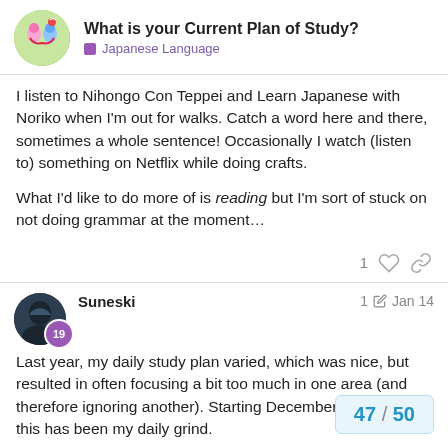What is your Current Plan of Study? | Japanese Language
I listen to Nihongo Con Teppei and Learn Japanese with Noriko when I'm out for walks. Catch a word here and there, sometimes a whole sentence! Occasionally I watch (listen to) something on Netflix while doing crafts.

What I'd like to do more of is reading but I'm sort of stuck on not doing grammar at the moment…
Suneski  1 ✏  Jan 14
19
Last year, my daily study plan varied, which was nice, but resulted in often focusing a bit too much in one area (and therefore ignoring another). Starting December of last year, this has been my daily grind.

Full Immersion: Any/all entertainment mus
47 / 50